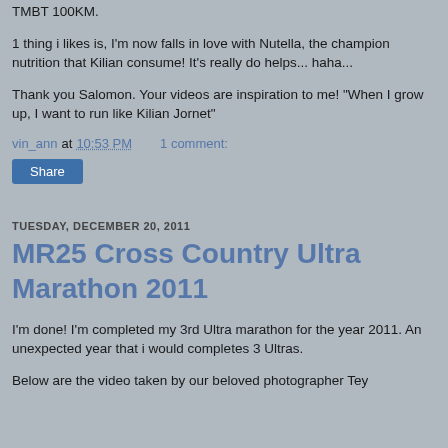TMBT 100KM.
1 thing i likes is, I'm now falls in love with Nutella, the champion nutrition that Kilian consume! It's really do helps... haha...
Thank you Salomon. Your videos are inspiration to me! "When I grow up, I want to run like Kilian Jornet"
vin_ann at 10:53 PM    1 comment:
Share
TUESDAY, DECEMBER 20, 2011
MR25 Cross Country Ultra Marathon 2011
I'm done! I'm completed my 3rd Ultra marathon for the year 2011. An unexpected year that i would completes 3 Ultras.
Below are the video taken by our beloved photographer Tey